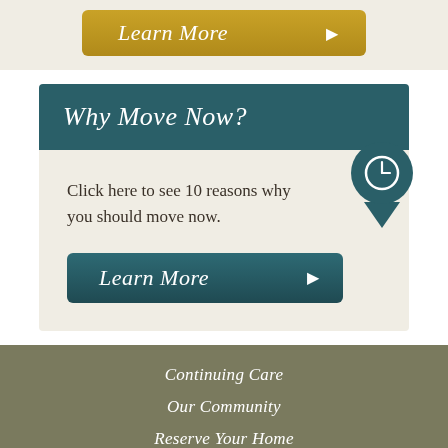[Figure (other): Gold 'Learn More' button with right-pointing arrow]
Why Move Now?
Click here to see 10 reasons why you should move now.
[Figure (other): Dark teal 'Learn More' button with right-pointing arrow]
Continuing Care
Our Community
Reserve Your Home
About Us
Testimonials
Fast Facts